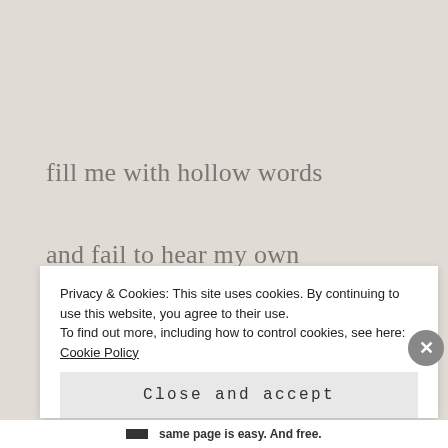fill me with hollow words
and fail to hear my own
Privacy & Cookies: This site uses cookies. By continuing to use this website, you agree to their use.
To find out more, including how to control cookies, see here: Cookie Policy
Close and accept
same page is easy. And free.